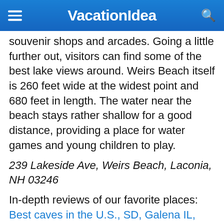VacationIdea
souvenir shops and arcades. Going a little further out, visitors can find some of the best lake views around. Weirs Beach itself is 260 feet wide at the widest point and 680 feet in length. The water near the beach stays rather shallow for a good distance, providing a place for water games and young children to play.
239 Lakeside Ave, Weirs Beach, Laconia, NH 03246
In-depth reviews of our favorite places: Best caves in the U.S., SD, Galena IL, Boise, St. Pete,